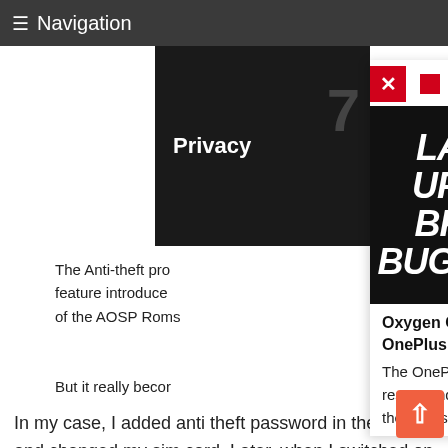Navigation
[Figure (screenshot): Dark image block with 'Privacy' text in white bold]
The Anti-theft pro feature introduced of the AOSP Roms
But it really becor
[Figure (screenshot): Also Read popup with 'LATEST UPDATE BRINGS BUGS FIXES' article image on black background and 'NEVER SETTLE' OnePlus image; article title: Oxygen OS: latest update removed bugs in OnePlus 3; body: The OnePlus 3's few problem regarding auto-restart and call quality are now being fixed with the release of t]
In my case, I added anti theft password in the past and changed my sim card. Later, when I switched on my